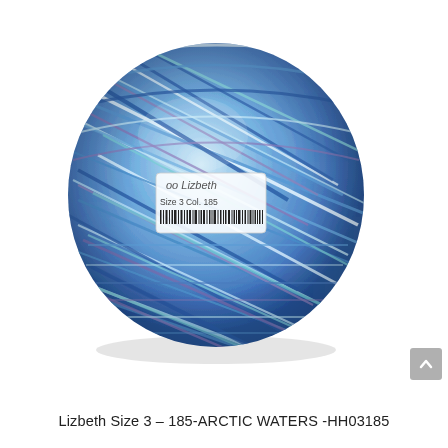[Figure (photo): A ball of Lizbeth size 3 tatting thread in color 185 Arctic Waters, showing multicolor thread wound into a round ball with a label visible. Colors include shades of blue, light blue/aqua, and purple/lavender.]
Lizbeth Size 3 – 185-ARCTIC WATERS -HH03185